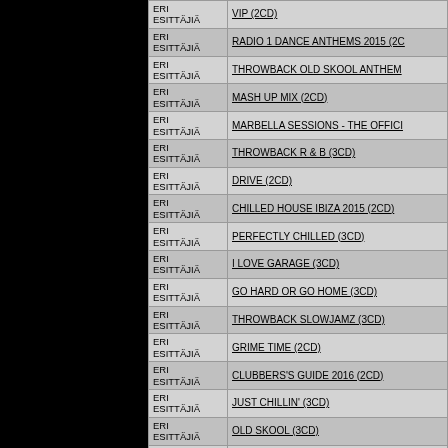| Artist | Title |
| --- | --- |
| ERI ESITTÄJIÄ | VIP (2CD) |
| ERI ESITTÄJIÄ | RADIO 1 DANCE ANTHEMS 2015 (2CD) |
| ERI ESITTÄJIÄ | THROWBACK OLD SKOOL ANTHEMS |
| ERI ESITTÄJIÄ | MASH UP MIX (2CD) |
| ERI ESITTÄJIÄ | MARBELLA SESSIONS - THE OFFICIAL |
| ERI ESITTÄJIÄ | THROWBACK R & B (3CD) |
| ERI ESITTÄJIÄ | DRIVE (2CD) |
| ERI ESITTÄJIÄ | CHILLED HOUSE IBIZA 2015 (2CD) |
| ERI ESITTÄJIÄ | PERFECTLY CHILLED (3CD) |
| ERI ESITTÄJIÄ | I LOVE GARAGE (3CD) |
| ERI ESITTÄJIÄ | GO HARD OR GO HOME (3CD) |
| ERI ESITTÄJIÄ | THROWBACK SLOWJAMZ (3CD) |
| ERI ESITTÄJIÄ | GRIME TIME (2CD) |
| ERI ESITTÄJIÄ | CLUBBERS'S GUIDE 2016 (2CD) |
| ERI ESITTÄJIÄ | JUST CHILLIN' (3CD) |
| ERI ESITTÄJIÄ | OLD SKOOL (3CD) |
| ERI ESITTÄJIÄ | CHILLED ELECTRONIC 80S (3CD) |
| ERI ESITTÄJIÄ | I LOVE SUMMER (3CD) |